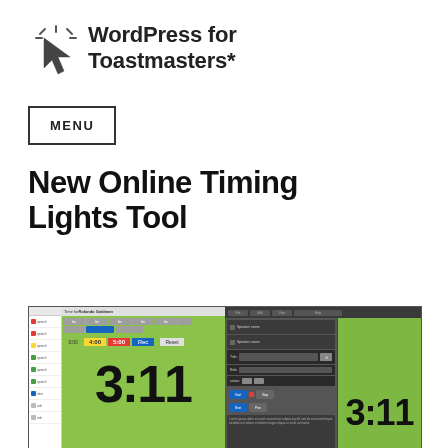[Figure (logo): WordPress for Toastmasters* logo with cursor/click icon]
WordPress for Toastmasters*
MENU
New Online Timing Lights Tool
[Figure (screenshot): Two screenshots of an online timing lights tool showing a green display with the timer reading 3:11, alongside a settings/control panel interface]